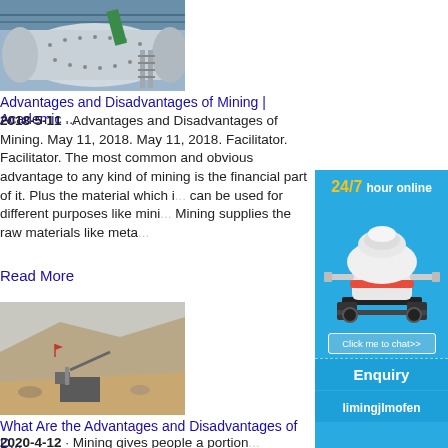[Figure (photo): Industrial ball mill machine inside a factory warehouse]
Advantages and Disadvantages of Mining | Academic ...
2018-5-11 · Advantages and Disadvantages of Mining. May 11, 2018. May 11, 2018. Facilitator. Facilitator. The most common and obvious advantage to any kind of mining is the financial part of it. Plus the material which is can be used for different purposes like mini... Mining supplies the raw materials like meta...
Read More
[Figure (infographic): Sidebar ad with 24/7 hour online text, cone crusher machine image, Click me to chat>> button, Enquiry section, limingjlmofen text on blue background]
[Figure (photo): Open pit mining site with excavation equipment and rocky hillside]
What Are the Advantages and Disadvantages of D...
2020-4-12 · Mining gives people a portion...